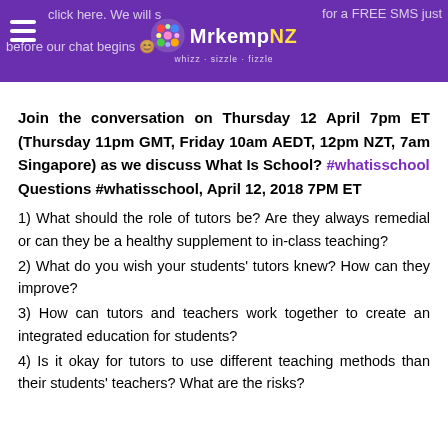click here. We will s... for a FREE SMS just before our chat begins 😊 [MrKempNZ logo]
Join the conversation on Thursday 12 April 7pm ET (Thursday 11pm GMT, Friday 10am AEDT, 12pm NZT, 7am Singapore) as we discuss What Is School? #whatisschool
Questions #whatisschool, April 12, 2018 7PM ET
1) What should the role of tutors be? Are they always remedial or can they be a healthy supplement to in-class teaching?
2) What do you wish your students' tutors knew? How can they improve?
3) How can tutors and teachers work together to create an integrated education for students?
4) Is it okay for tutors to use different teaching methods than their students' teachers? What are the risks?